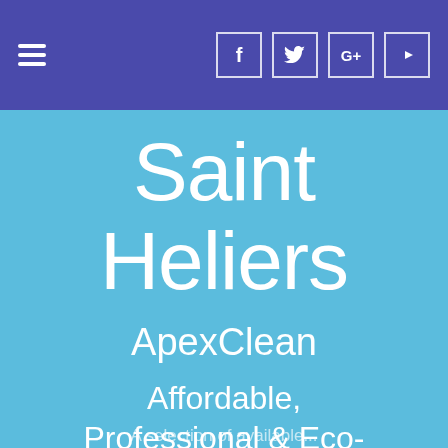Navigation bar with hamburger menu and social icons (Facebook, Twitter, Google+, YouTube)
Saint Heliers
ApexClean
Affordable, Professional & Eco-friendly
A selection of available...